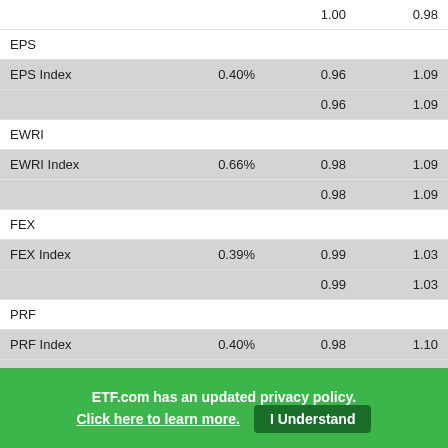| Name | Fee | Col1 | Col2 |
| --- | --- | --- | --- |
|  |  | 1.00 | 0.98 |
| EPS |  |  |  |
| EPS Index | 0.40% | 0.96 | 1.09 |
|  |  | 0.96 | 1.09 |
| EWRI |  |  |  |
| EWRI Index | 0.66% | 0.98 | 1.09 |
|  |  | 0.98 | 1.09 |
| FEX |  |  |  |
| FEX Index | 0.39% | 0.99 | 1.03 |
|  |  | 0.99 | 1.03 |
| PRF |  |  |  |
| PRF Index | 0.40% | 0.98 | 1.10 |
|  |  | 0.98 | 1.10 |
| RSP |  |  |  |
|  | 0.25% | 0.93 | 1.60 |
ETF.com has an updated privacy policy.
Click here to learn more.
I Understand